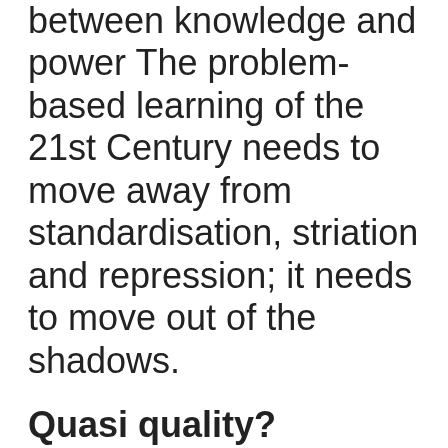between knowledge and power The problem-based learning of the 21st Century needs to move away from standardisation, striation and repression; it needs to move out of the shadows.
Quasi quality?
We need to rethink pedagogy and move away